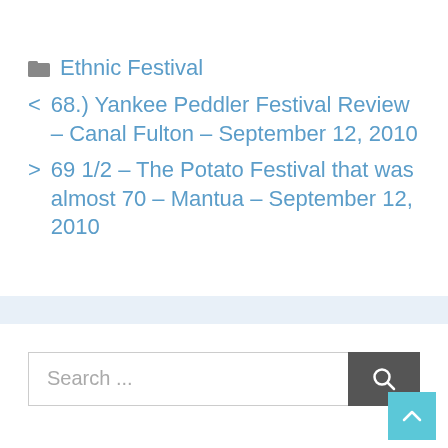Ethnic Festival
< 68.) Yankee Peddler Festival Review – Canal Fulton – September 12, 2010
> 69 1/2 – The Potato Festival that was almost 70 – Mantua – September 12, 2010
Search ...